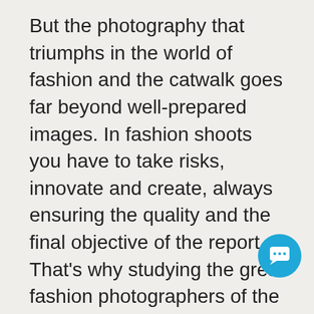But the photography that triumphs in the world of fashion and the catwalk goes far beyond well-prepared images. In fashion shoots you have to take risks, innovate and create, always ensuring the quality and the final objective of the report. That's why studying the great fashion photographers of the past and everything to do with art will help you to set your own style.
When working with models, try to connect with them before and during the shoot so that they can give their best. Be patient but determined.
Experiment with light to create different moods and move around a lot. This way you will get less overlooked shots.